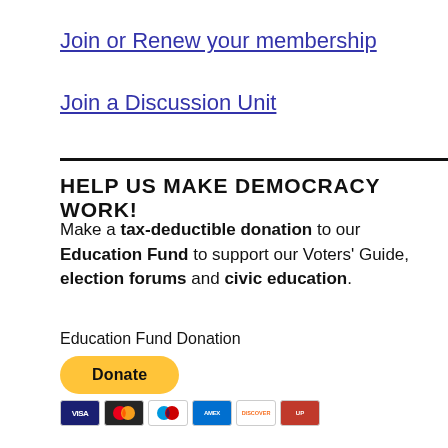Join or Renew your membership
Join a Discussion Unit
HELP US MAKE DEMOCRACY WORK!
Make a tax-deductible donation to our Education Fund to support our Voters' Guide, election forums and civic education.
Education Fund Donation
[Figure (other): PayPal Donate button (yellow pill-shaped button) with payment card icons below (Visa, Mastercard, Maestro, Amex, Discover, UnionPay)]